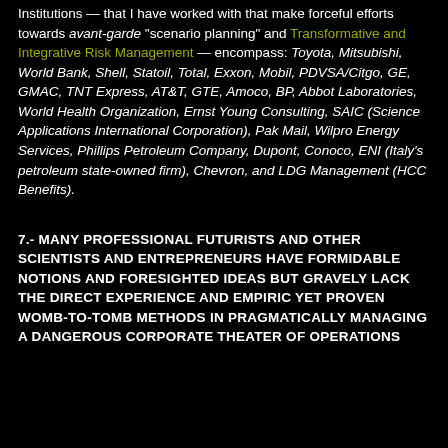Institutions — that I have worked with that make forceful efforts towards avant-garde "scenario planning" and Transformative and Integrative Risk Management — encompass: Toyota, Mitsubishi, World Bank, Shell, Statoil, Total, Exxon, Mobil, PDVSA/Citgo, GE, GMAC, TNT Express, AT&T, GTE, Amoco, BP, Abbot Laboratories, World Health Organization, Ernst Young Consulting, SAIC (Science Applications International Corporation), Pak Mail, Wilpro Energy Services, Phillips Petroleum Company, Dupont, Conoco, ENI (Italy's petroleum state-owned firm), Chevron, and LDG Management (HCC Benefits).
7.- MANY PROFESSIONAL FUTURISTS AND OTHER SCIENTISTS AND ENTREPRENEURS HAVE FORMIDABLE NOTIONS AND FORESIGHTED IDEAS BUT GRAVELY LACK THE DIRECT EXPERIENCE AND EMPIRIC YET PROVEN WOMB-TO-TOMB METHODS IN PRAGMATICALLY MANAGING A DANGEROUS CORPORATE THEATER OF OPERATIONS